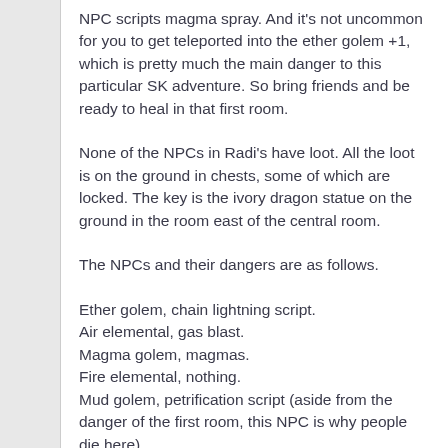NPC scripts magma spray. And it's not uncommon for you to get teleported into the ether golem +1, which is pretty much the main danger to this particular SK adventure. So bring friends and be ready to heal in that first room.
None of the NPCs in Radi's have loot. All the loot is on the ground in chests, some of which are locked. The key is the ivory dragon statue on the ground in the room east of the central room.
The NPCs and their dangers are as follows.
Ether golem, chain lightning script.
Air elemental, gas blast.
Magma golem, magmas.
Fire elemental, nothing.
Mud golem, petrification script (aside from the danger of the first room, this NPC is why people die here).
Water elemental, reaches and hits.